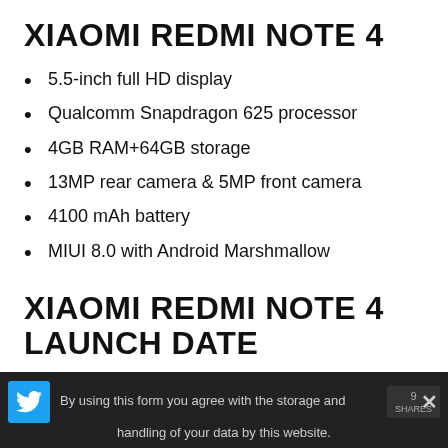XIAOMI REDMI NOTE 4
5.5-inch full HD display
Qualcomm Snapdragon 625 processor
4GB RAM+64GB storage
13MP rear camera & 5MP front camera
4100 mAh battery
MIUI 8.0 with Android Marshmallow
XIAOMI REDMI NOTE 4 LAUNCH DATE
By using this form you agree with the storage and handling of your data by this website.